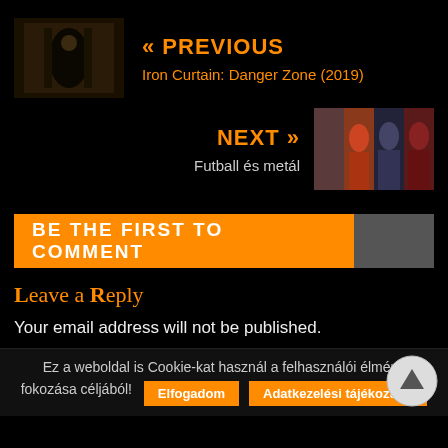[Figure (photo): Previous article thumbnail - dark scene image for Iron Curtain: Danger Zone (2019)]
« PREVIOUS
Iron Curtain: Danger Zone (2019)
NEXT »
Futball és metál
[Figure (photo): Next article thumbnail - collage of football and metal themed images]
BE THE FIRST TO COMMENT
Leave a Reply
Your email address will not be published.
Ez a weboldal is Cookie-kat használ a felhasználói élmény fokozása céljából!
Elfogadom
Adatkezelési tájékoztató